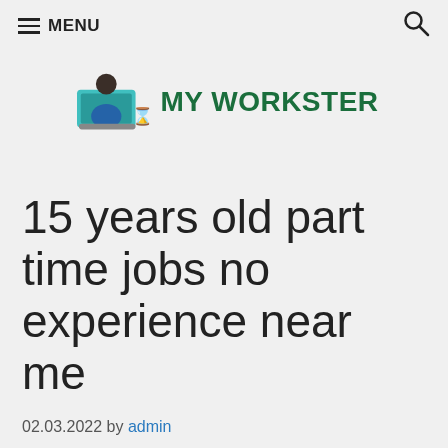≡ MENU
[Figure (logo): My Workster logo: person sitting at a computer desk with teal monitor, with a small hourglass icon, next to bold green text MY WORKSTER]
15 years old part time jobs no experience near me
02.03.2022 by admin